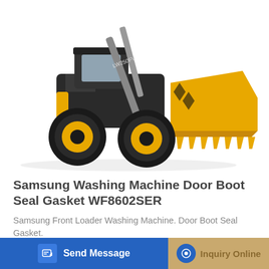[Figure (photo): Yellow and black wheel loader / front loader construction machine with large bucket attachment, shown on white background]
Samsung Washing Machine Door Boot Seal Gasket WF8602SER
Samsung Front Loader Washing Machine. Door Boot Seal Gasket.
Learn More
Send Message
Inquiry Online